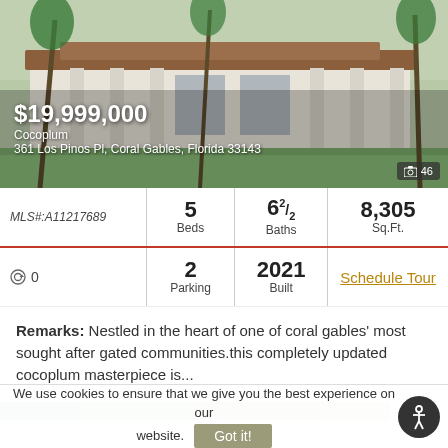[Figure (photo): Exterior photo of a large luxury Mediterranean-style white villa with palm trees and manicured lawn]
$19,999,000
Cocoplum
361 Los Pinos Pl, Coral Gables, Florida 33143
| MLS# | Beds | Baths | Sq.Ft. |
| --- | --- | --- | --- |
| MLS#:A11217689 | 5 Beds | 6 2/2 Baths | 8,305 Sq.Ft. |
| ◎ 0 | 2 Parking | 2021 Built | Schedule Tour |
Remarks: Nestled in the heart of one of coral gables' most sought after gated communities.this completely updated cocoplum masterpiece is...
[Figure (photo): Partial view of another property listing image at bottom of page]
We use cookies to ensure that we give you the best experience on our website.
Got it!